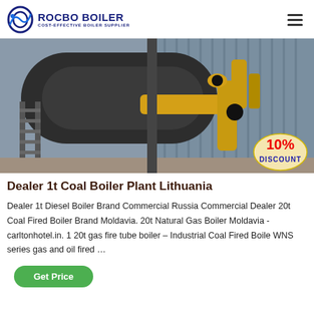ROCBO BOILER — COST-EFFECTIVE BOILER SUPPLIER
[Figure (photo): Industrial coal boiler plant exterior with large cylindrical boiler, yellow piping, metal staircase, and corrugated metal wall in background. A 10% DISCOUNT badge overlays the bottom-right corner.]
Dealer 1t Coal Boiler Plant Lithuania
Dealer 1t Diesel Boiler Brand Commercial Russia Commercial Dealer 20t Coal Fired Boiler Brand Moldavia. 20t Natural Gas Boiler Moldavia - carltonhotel.in. 1 20t gas fire tube boiler – Industrial Coal Fired Boile WNS series gas and oil fired …
Get Price